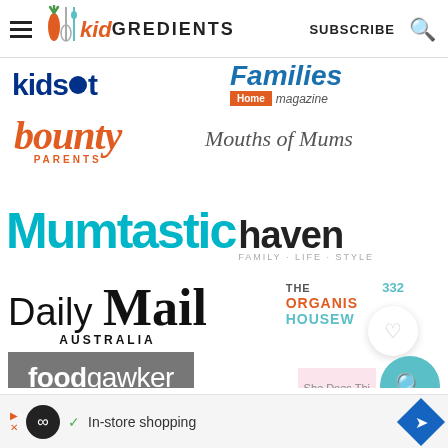kidGREDIENTS | SUBSCRIBE
[Figure (logo): Collection of media logos: Kidspot, Families Home Magazine, bounty PARENTS, Mouths of Mums, Mumtastic haven FAMILY LIFE STYLE, Daily Mail AUSTRALIA, THE ORGANIS HOUSEW, foodgawker, She Does This]
[Figure (infographic): Ad bar at bottom: circular icon with infinity symbol, checkmark, In-store shopping text, blue diamond navigation arrow]